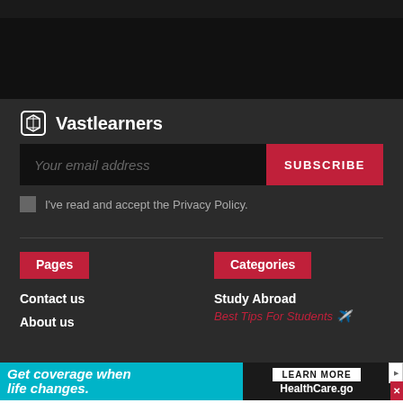[Figure (screenshot): Top black navigation bar area]
Vastlearners
Your email address
SUBSCRIBE
I've read and accept the Privacy Policy.
Pages
Categories
Contact us
About us
Study Abroad
Best Tips For Students ✈️
[Figure (screenshot): HealthCare.gov advertisement banner: 'Get coverage when life changes.' with LEARN MORE button and HealthCare.gov logo]